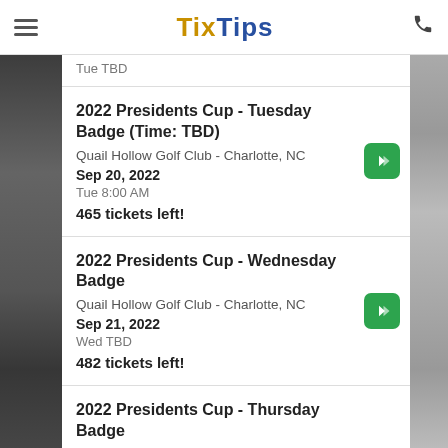TixTips
Tue TBD
2022 Presidents Cup - Tuesday Badge (Time: TBD)
Quail Hollow Golf Club - Charlotte, NC
Sep 20, 2022
Tue 8:00 AM
465 tickets left!
2022 Presidents Cup - Wednesday Badge
Quail Hollow Golf Club - Charlotte, NC
Sep 21, 2022
Wed TBD
482 tickets left!
2022 Presidents Cup - Thursday Badge